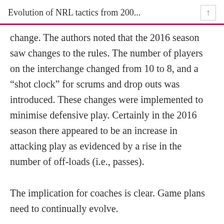Evolution of NRL tactics from 200...
change. The authors noted that the 2016 season saw changes to the rules. The number of players on the interchange changed from 10 to 8, and a “shot clock” for scrums and drop outs was introduced. These changes were implemented to minimise defensive play. Certainly in the 2016 season there appeared to be an increase in attacking play as evidenced by a rise in the number of off-loads (i.e., passes).
The implication for coaches is clear. Game plans need to continually evolve.